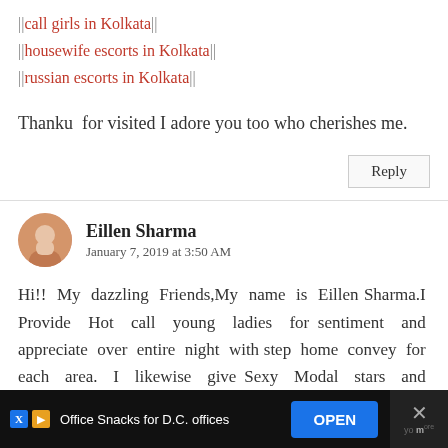||call girls in Kolkata||
||housewife escorts in Kolkata||
||russian escorts in Kolkata||
Thanku for visited I adore you too who cherishes me.
Reply
Eillen Sharma
January 7, 2019 at 3:50 AM
Hi!! My dazzling Friends,My name is Eillen Sharma.I Provide Hot call young ladies for sentiment and appreciate over entire night with step home convey for each area. I likewise give Sexy Modal stars and Housewife like your better
Office Snacks for D.C. offices